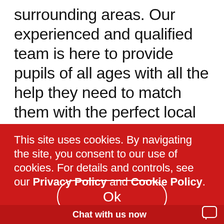surrounding areas. Our experienced and qualified team is here to provide pupils of all ages with all the help they need to match them with the perfect local tutor and to provide personalised learning plans tailored to the pupil's unique needs.
This site uses cookies. By navigating the site, you consent to our use of cookies. For details and controls, see our Privacy Policy and Cookie Policy.
Ok
Chat with us now